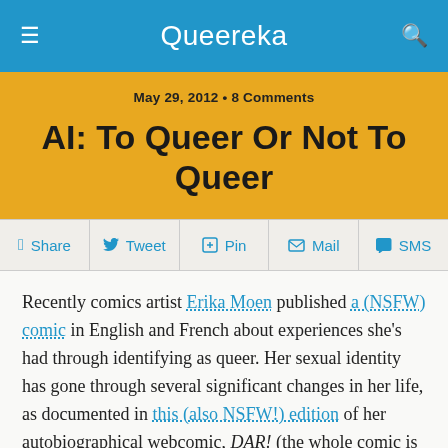Queereka
May 29, 2012 • 8 Comments
AI: To Queer Or Not To Queer
Share  Tweet  Pin  Mail  SMS
Recently comics artist Erika Moen published a (NSFW) comic in English and French about experiences she's had through identifying as queer. Her sexual identity has gone through several significant changes in her life, as documented in this (also NSFW!) edition of her autobiographical webcomic, DAR! (the whole comic is definitely worth a read though). As a woman who once